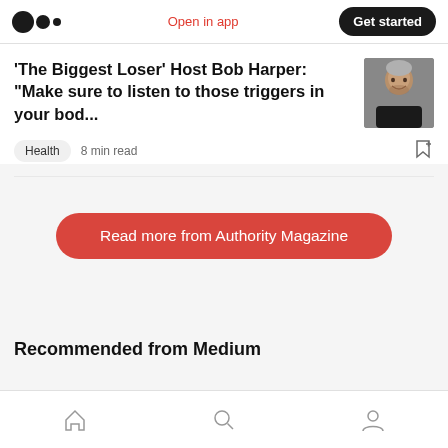Medium — Open in app — Get started
'The Biggest Loser' Host Bob Harper: “Make sure to listen to those triggers in your bod…
Health  8 min read
Read more from Authority Magazine
Recommended from Medium
Home  Search  Profile